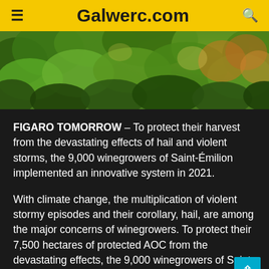≡   Galwerc.com   🔍
[Figure (photo): Close-up photo of vineyard leaves and grapevines with green foliage and some orange/autumn tones, sunlit outdoors.]
FIGARO TOMORROW – To protect their harvest from the devastating effects of hail and violent storms, the 9,000 winegrowers of Saint-Émilion implemented an innovative system in 2021.
With climate change, the multiplication of violent stormy episodes and their corollary, hail, are among the major concerns of winegrowers. To protect their 7,500 hectares of protected AOC from the devastating effects, the 9,000 winegrowers of Saint-Émilion set up an innovative system in 2021.